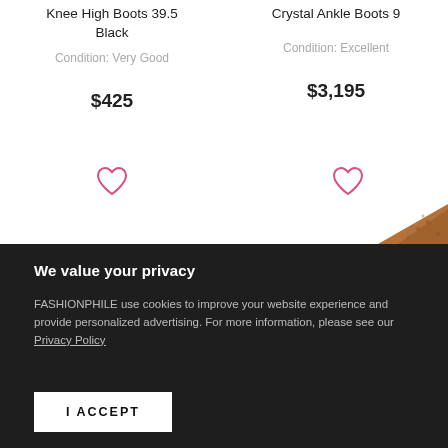Knee High Boots 39.5 Black
Condition: Very Good
$425
Crystal Ankle Boots 9
Condition: Excellent
$3,195
[Figure (illustration): Heart/wishlist icon (pink outline) for left product]
[Figure (illustration): Heart/wishlist icon (pink outline) for right product]
[Figure (photo): Partial image of a brown leather boot at bottom right]
We value your privacy
FASHIONPHILE use cookies to improve your website experience and provide personalized advertising. For more information, please see our Privacy Policy
I ACCEPT